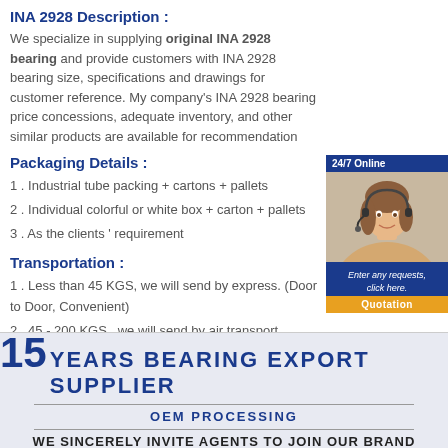INA 2928 Description :
We specialize in supplying original INA 2928 bearing and provide customers with INA 2928 bearing size, specifications and drawings for customer reference. My company's INA 2928 bearing price concessions, adequate inventory, and other similar products are available for recommendation
Packaging Details :
1 . Industrial tube packing + cartons + pallets
2 . Individual colorful or white box + carton + pallets
3 . As the clients ' requirement
[Figure (photo): Customer service representative with headset, 24/7 Online banner, with Quotation button]
Transportation :
1 . Less than 45 KGS, we will send by express. (Door to Door, Convenient)
2 . 45 - 200 KGS , we will send by air transport . (Fastest and safest, but expensive)
3 . More than 200 KGS, we will send by sea . ( Cheapest and common use )
[Figure (infographic): 15 YEARS BEARING EXPORT SUPPLIER banner with OEM PROCESSING and WE SINCERELY INVITE AGENTS TO JOIN OUR BRAND]